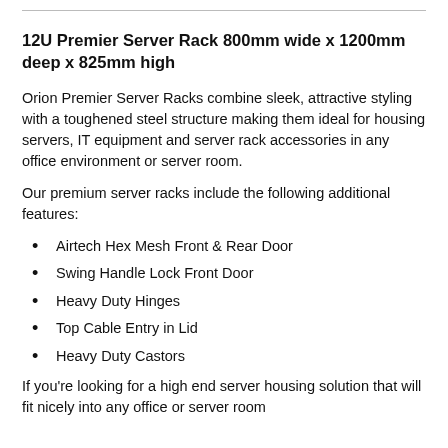12U Premier Server Rack 800mm wide x 1200mm deep x 825mm high
Orion Premier Server Racks combine sleek, attractive styling with a toughened steel structure making them ideal for housing servers, IT equipment and server rack accessories in any office environment or server room.
Our premium server racks include the following additional features:
Airtech Hex Mesh Front & Rear Door
Swing Handle Lock Front Door
Heavy Duty Hinges
Top Cable Entry in Lid
Heavy Duty Castors
If you're looking for a high end server housing solution that will fit nicely into any office or server room